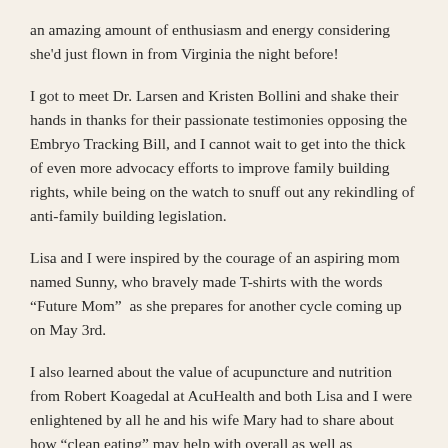an amazing amount of enthusiasm and energy considering she'd just flown in from Virginia the night before!
I got to meet Dr. Larsen and Kristen Bollini and shake their hands in thanks for their passionate testimonies opposing the Embryo Tracking Bill, and I cannot wait to get into the thick of even more advocacy efforts to improve family building rights, while being on the watch to snuff out any rekindling of anti-family building legislation.
Lisa and I were inspired by the courage of an aspiring mom named Sunny, who bravely made T-shirts with the words “Future Mom”  as she prepares for another cycle coming up on May 3rd.
I also learned about the value of acupuncture and nutrition from Robert Koagedal at AcuHealth and both Lisa and I were enlightened by all he and his wife Mary had to share about how “clean eating” may help with overall as well as